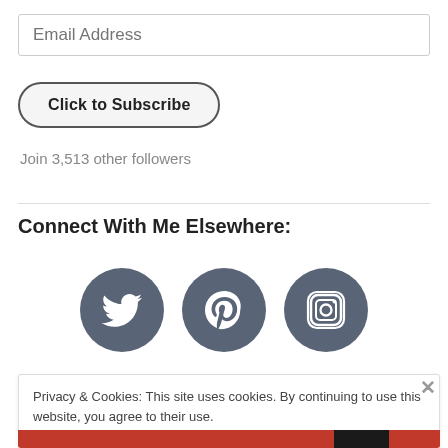Email Address
Click to Subscribe
Join 3,513 other followers
Connect With Me Elsewhere:
[Figure (illustration): Three circular social media icons in dark slate-blue: Twitter bird, Pinterest P, and Instagram camera]
Privacy & Cookies: This site uses cookies. By continuing to use this website, you agree to their use.
To find out more, including how to control cookies, see here: Cookie Policy
Close and accept